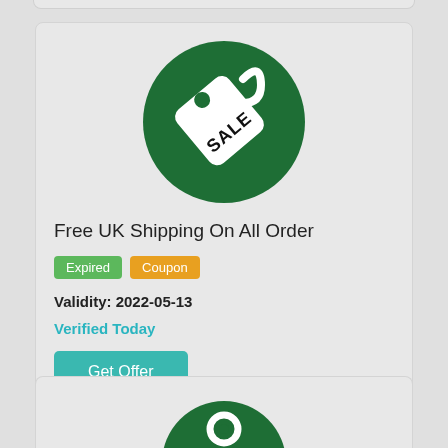[Figure (illustration): Green circle with a white sale tag icon showing the word SALE]
Free UK Shipping On All Order
Expired | Coupon
Validity: 2022-05-13
Verified Today
Get Offer
[Figure (illustration): Partial green circle icon at bottom of page — second card beginning]